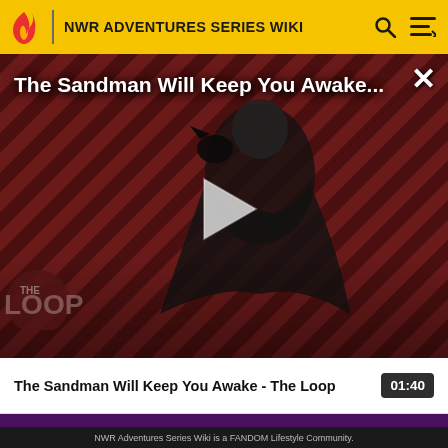NWR ADVENTURES SERIES WIKI
[Figure (screenshot): Video thumbnail showing The Sandman character in dark clothing against a diagonal striped red/dark background with THE LOOP logo overlay and a play button in the center. Title text overlay reads 'The Sandman Will Keep You Awake...' with a close X button.]
The Sandman Will Keep You Awake - The Loop
01:40
NWR Adventures Series Wiki is a FANDOM Lifestyle Community.
VIEW FULL SITE